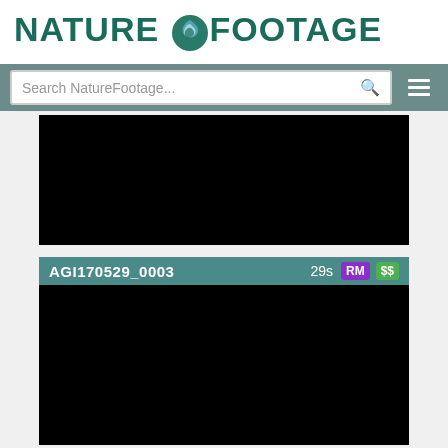NATURE FOOTAGE
Search NatureFootage...
[Figure (screenshot): Black video thumbnail (first video clip, partially visible)]
AGI170529_0003  29s  RM  $$
[Figure (screenshot): Black video thumbnail for AGI170529_0003]
JLE170721_0009  19s  RM  $$